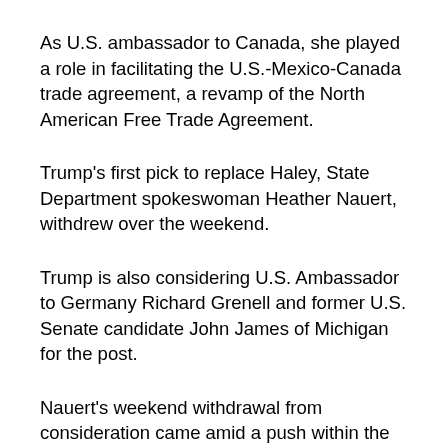As U.S. ambassador to Canada, she played a role in facilitating the U.S.-Mexico-Canada trade agreement, a revamp of the North American Free Trade Agreement.
Trump's first pick to replace Haley, State Department spokeswoman Heather Nauert, withdrew over the weekend.
Trump is also considering U.S. Ambassador to Germany Richard Grenell and former U.S. Senate candidate John James of Michigan for the post.
Nauert's weekend withdrawal from consideration came amid a push within the administration to fill the position given a pressing array of foreign policy concerns in which the United Nations, particularly the U.N. Security Council, is likely to play a significant role. From Afghanistan to Venezuela, the administration comes across...